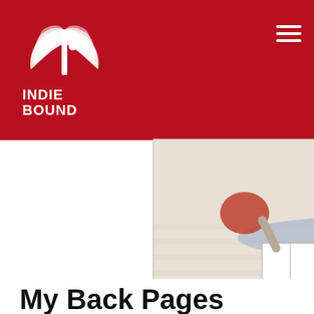IndieBound — header with logo and navigation
[Figure (photo): Woman lying on a light wood floor reading an open book, wearing a blue/white patterned dress, photographed from behind/side]
My Back Pages
Reviews and Essays
IndieBound.Org Uses Cookies To Enhance Your Experience On Our Site, Analyze Site Usage, And Assist In Our Marketing Efforts. By Clicking Accept, You Agree To The Storing Of Cookies On Your Device. View Our Cookie Policy.
Give me more info